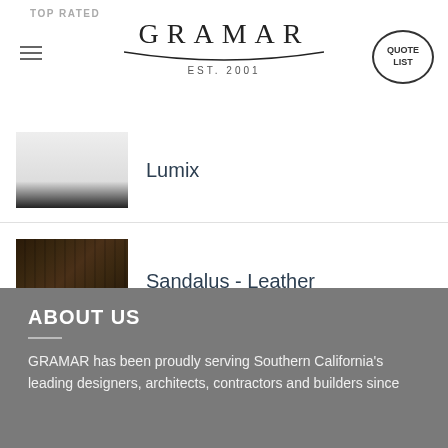TOP RATED | GRAMAR EST. 2001 | QUOTE LIST
Lumix
Sandalus - Leather
Alpina White - Silestone
ABOUT US
GRAMAR has been proudly serving Southern California's leading designers, architects, contractors and builders since